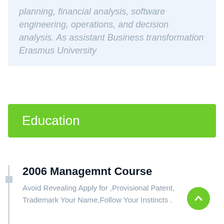planning, financial analysis, software engineering, operations, and decision analysis. As assistant Business transformation Erasmus University
Education
2006 Managemnt Course
Avoid Revealing Apply for ,Provisional Patent, Trademark Your Name,Follow Your Instincts .